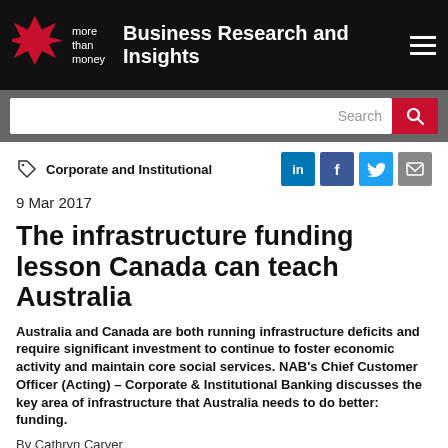Business Research and Insights
Search
Corporate and Institutional
9 Mar 2017
The infrastructure funding lesson Canada can teach Australia
Australia and Canada are both running infrastructure deficits and require significant investment to continue to foster economic activity and maintain core social services. NAB's Chief Customer Officer (Acting) – Corporate & Institutional Banking discusses the key area of infrastructure that Australia needs to do better: funding.
By Cathryn Carver